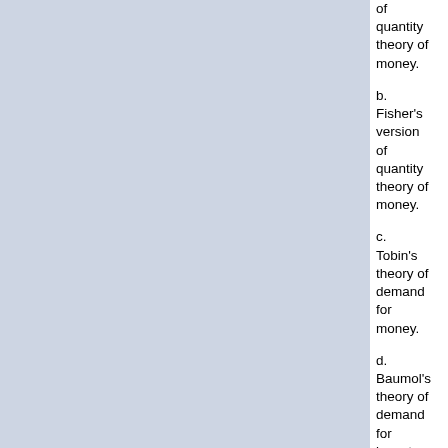of quantity theory of money.
b. Fisher's version of quantity theory of money.
c. Tobin's theory of demand for money.
d. Baumol's theory of demand for inventory.